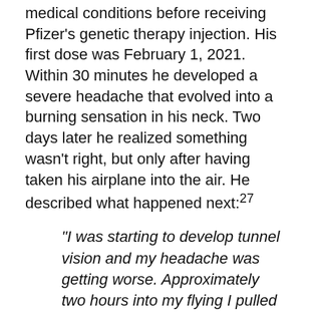medical conditions before receiving Pfizer's genetic therapy injection. His first dose was February 1, 2021. Within 30 minutes he developed a severe headache that evolved into a burning sensation in his neck. Two days later he realized something wasn't right, but only after having taken his airplane into the air. He described what happened next:27
“I was starting to develop tunnel vision and my headache was getting worse. Approximately two hours into my flying I pulled my airplane up to turn around and felt an extreme burst of pressure in my ears. Instantly I was nearly blacked out, dizzy, disoriented, nauseous and shaking uncontrollably. By the grace of God, I was able to land my plane without incident,